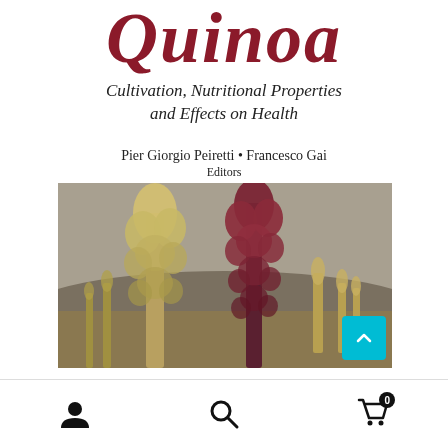Quinoa
Cultivation, Nutritional Properties and Effects on Health
Pier Giorgio Peiretti • Francesco Gai
Editors
[Figure (photo): Photograph of quinoa plants in a field: a tall yellow-cream quinoa plant on the left and a tall dark red/burgundy quinoa plant on the right, with more yellow quinoa plants and a mountain landscape in the background.]
Navigation bar with user icon, search icon, and cart icon (0 items)